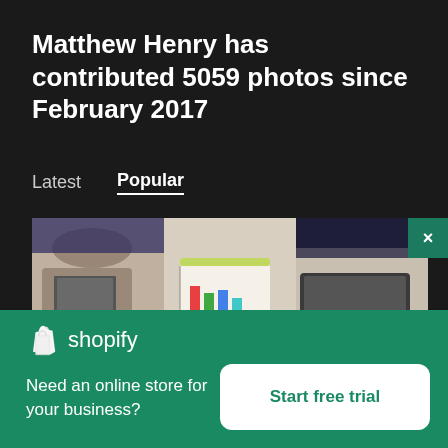Matthew Henry has contributed 5059 photos since February 2017
Latest   Popular
[Figure (photo): Overhead view of people working at a desk with laptops and notebooks, shown in a horizontal photo strip collage]
shopify
Need an online store for your business?
Start free trial